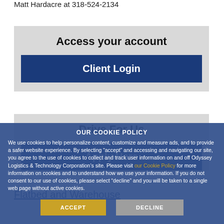Matt Hardacre at 318-524-2134
Access your account
Client Login
Drive For Us
Apply Here
OUR COOKIE POLICY
We use cookies to help personalize content, customize and measure ads, and to provide a safer website experience. By selecting “accept” and accessing and navigating our site, you agree to the use of cookies to collect and track user information on and off Odyssey Logistics & Technology Corporation’s site. Please visit our Cookie Policy for more information on cookies and to understand how we use your information. If you do not consent to our use of cookies, please select “decline” and you will be taken to a single web page without active cookies.
ACCEPT
DECLINE
Flatbed and Warehouse